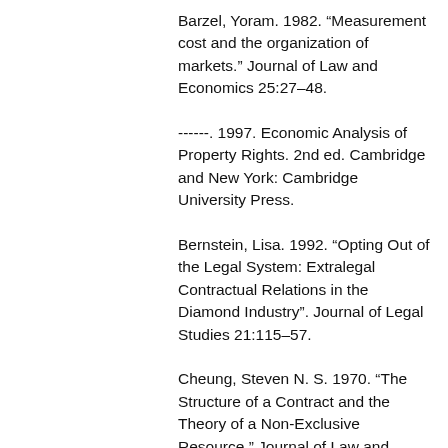Barzel, Yoram. 1982. “Measurement cost and the organization of markets.” Journal of Law and Economics 25:27–48.
------. 1997. Economic Analysis of Property Rights. 2nd ed. Cambridge and New York: Cambridge University Press.
Bernstein, Lisa. 1992. “Opting Out of the Legal System: Extralegal Contractual Relations in the Diamond Industry”. Journal of Legal Studies 21:115–57.
Cheung, Steven N. S. 1970. “The Structure of a Contract and the Theory of a Non-Exclusive Resource.” Journal of Law and Economics 13:49–70.